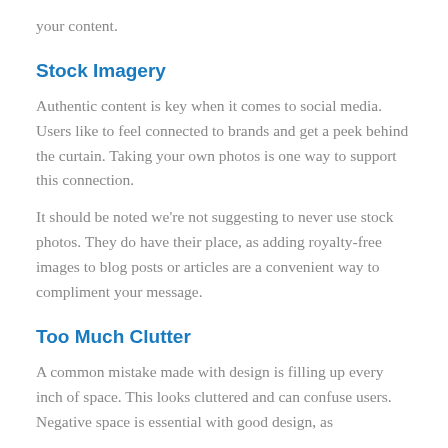your content.
Stock Imagery
Authentic content is key when it comes to social media. Users like to feel connected to brands and get a peek behind the curtain. Taking your own photos is one way to support this connection.
It should be noted we're not suggesting to never use stock photos. They do have their place, as adding royalty-free images to blog posts or articles are a convenient way to compliment your message.
Too Much Clutter
A common mistake made with design is filling up every inch of space. This looks cluttered and can confuse users. Negative space is essential with good design, as